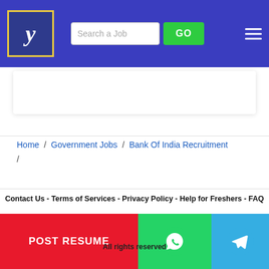[Figure (screenshot): Website header with logo (stylized 'y'), search bar, GO button, and hamburger menu on blue/indigo background]
Home / Government Jobs / Bank Of India Recruitment /
Contact Us - Terms of Services - Privacy Policy - Help for Freshers - FAQ
Partner Sites : Jobs in USA - Jobs in Singapore - Empregos no Brasil
Follow us on :
All rights reserved
[Figure (logo): POST RESUME red button]
[Figure (logo): WhatsApp green button]
[Figure (logo): Telegram blue button]